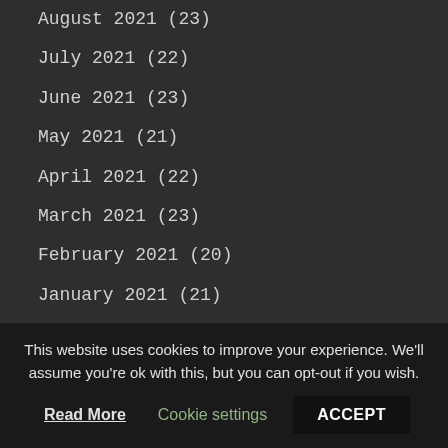August 2021 (23)
July 2021 (22)
June 2021 (23)
May 2021 (21)
April 2021 (22)
March 2021 (23)
February 2021 (20)
January 2021 (21)
December 2020 (23)
November 2020 (21)
October 2020 (22)
September 2020 (23)
August 2020 (21)
This website uses cookies to improve your experience. We'll assume you're ok with this, but you can opt-out if you wish.
Read More | Cookie settings | ACCEPT